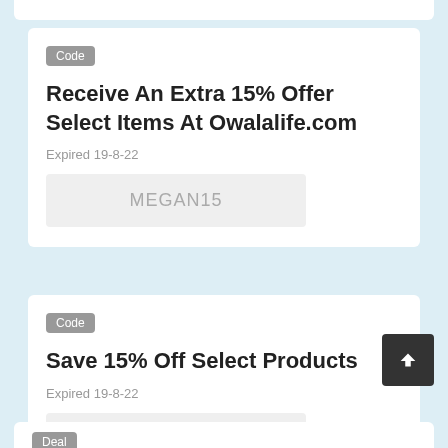Code
Receive An Extra 15% Offer Select Items At Owalalife.com
Expired 19-8-22
MEGAN15
Code
Save 15% Off Select Products
Expired 19-8-22
SARA15
Deal